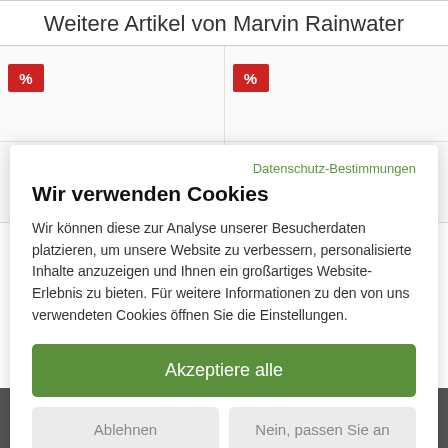Weitere Artikel von Marvin Rainwater
[Figure (screenshot): Two product cells with red % discount badges, partially visible product images]
Datenschutz-Bestimmungen
Wir verwenden Cookies
Wir können diese zur Analyse unserer Besucherdaten platzieren, um unsere Website zu verbessern, personalisierte Inhalte anzuzeigen und Ihnen ein großartiges Website-Erlebnis zu bieten. Für weitere Informationen zu den von uns verwendeten Cookies öffnen Sie die Einstellungen.
Akzeptiere alle
Ablehnen
Nein, passen Sie an
[Figure (screenshot): Bottom media player bar with album art thumbnail, playback controls, and track info: Classic Recordings (4-CD Box Set) / Daddy's Glad You Came Home]